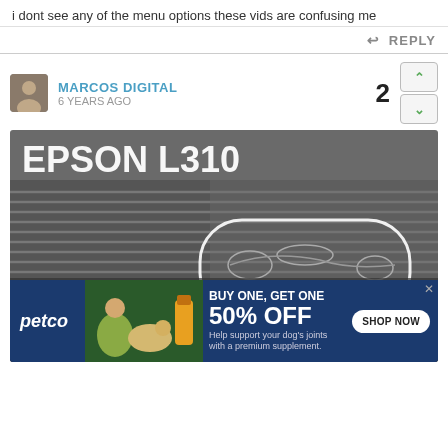i dont see any of the menu options these vids are confusing me
REPLY
MARCOS DIGITAL
6 YEARS AGO
[Figure (photo): Photo of an Epson L310 printer label/top surface showing horizontal striped pattern with a circled area on the right half. Text overlay reads: 'EPSON L310' at top and 'Problem: the Magenta is complete but the pattern is not straight as the other colors. Please Help.....' and partially visible 'Serial Number' text at bottom.]
[Figure (infographic): Petco advertisement banner: 'BUY ONE, GET ONE 50% OFF - Help support your dog's joints with a premium supplement. SHOP NOW'. Shows woman with golden retriever and supplement product image.]